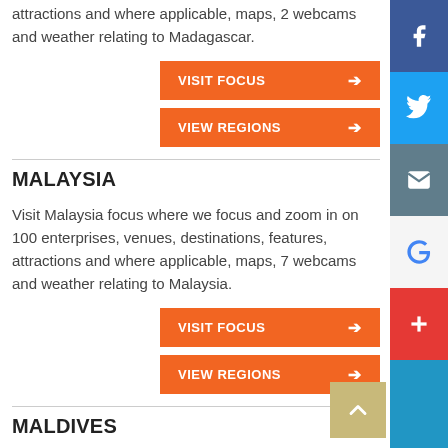attractions and where applicable, maps, 2 webcams and weather relating to Madagascar.
VISIT FOCUS →
VIEW REGIONS →
MALAYSIA
Visit Malaysia focus where we focus and zoom in on 100 enterprises, venues, destinations, features, attractions and where applicable, maps, 7 webcams and weather relating to Malaysia.
VISIT FOCUS →
VIEW REGIONS →
MALDIVES
Visit Maldives focus where we focus and zoom in on 54 enterprises, venues, destinations, features, attractions and where applicable, maps, 9 webcams